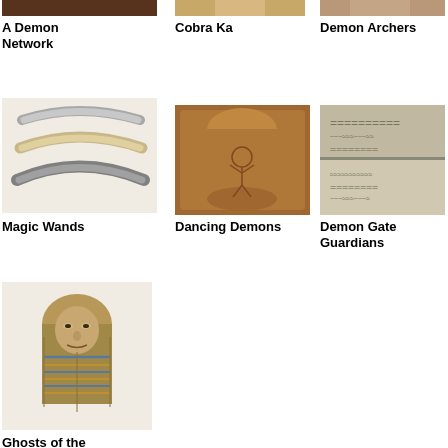[Figure (photo): Partial image of artifact - A Demon Network, top cropped]
A Demon Network
[Figure (photo): Partial image of artifact - Cobra Ka, top cropped]
Cobra Ka
[Figure (photo): Partial image of artifact - Demon Archers, top cropped]
Demon Archers
[Figure (photo): Three curved ivory/bone magic wands on white background]
Magic Wands
[Figure (photo): Brown ceramic or clay object with dancing demon figure engraved]
Dancing Demons
[Figure (photo): Stone relief carvings showing demon gate guardians in two panels]
Demon Gate Guardians
[Figure (photo): Egyptian stone or painted bust of a figure, possibly a canopic jar lid with human face]
Ghosts of the Ancestors